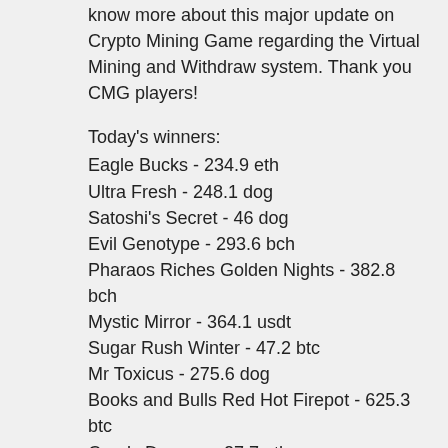know more about this major update on Crypto Mining Game regarding the Virtual Mining and Withdraw system. Thank you CMG players!
Today's winners:
Eagle Bucks - 234.9 eth
Ultra Fresh - 248.1 dog
Satoshi's Secret - 46 dog
Evil Genotype - 293.6 bch
Pharaos Riches Golden Nights - 382.8 bch
Mystic Mirror - 364.1 usdt
Sugar Rush Winter - 47.2 btc
Mr Toxicus - 275.6 dog
Books and Bulls Red Hot Firepot - 625.3 btc
Candy Dreams - 27.7 eth
7th Heaven - 414.3 bch
World of Warlords - 204.1 dog
Slot-o-Pol Deluxe - 743.3 eth
Crazy Cars - 389.6 eth
Blazing Star - 310.3 bch